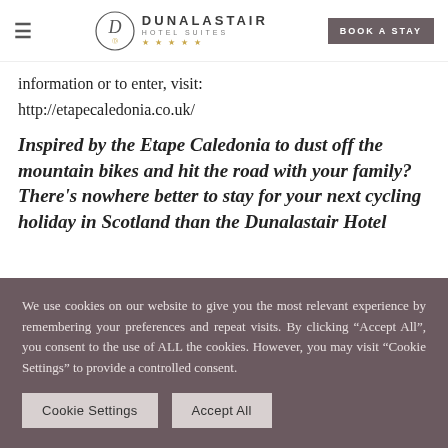≡  DUNALASTAIR HOTEL SUITES ★★★★★  BOOK A STAY
information or to enter, visit:
http://etapecaledonia.co.uk/
Inspired by the Etape Caledonia to dust off the mountain bikes and hit the road with your family? There's nowhere better to stay for your next cycling holiday in Scotland than the Dunalastair Hotel
We use cookies on our website to give you the most relevant experience by remembering your preferences and repeat visits. By clicking "Accept All", you consent to the use of ALL the cookies. However, you may visit "Cookie Settings" to provide a controlled consent.